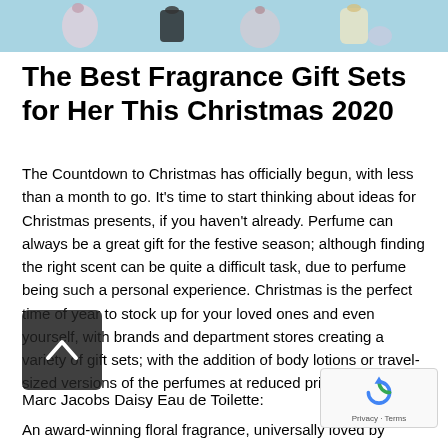[Figure (photo): Top portion of a hero image showing perfume/fragrance bottles on a light blue background, partially cropped at the top of the page.]
The Best Fragrance Gift Sets for Her This Christmas 2020
The Countdown to Christmas has officially begun, with less than a month to go. It’s time to start thinking about ideas for Christmas presents, if you haven’t already. Perfume can always be a great gift for the festive season; although finding the right scent can be quite a difficult task, due to perfume being such a personal experience. Christmas is the perfect time of year to stock up for your loved ones and even yourself, with brands and department stores creating a variety of gift sets; with the addition of body lotions or travel-sized versions of the perfumes at reduced prices.
Marc Jacobs Daisy Eau de Toilette:
An award-winning floral fragrance, universally loved by